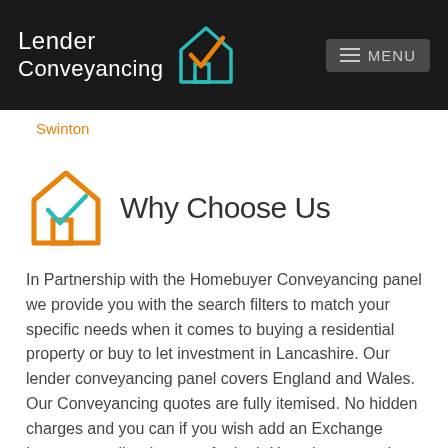[Figure (logo): Lender Conveyancing logo with house and checkmark icon, white text on dark background, and MENU button]
Swinton
Why Choose Us
In Partnership with the Homebuyer Conveyancing panel we provide you with the search filters to match your specific needs when it comes to buying a residential property or buy to let investment in Lancashire. Our lender conveyancing panel covers England and Wales. Our Conveyancing quotes are fully itemised. No hidden charges and you can if you wish add an Exchange Insurance policy. It caters for both Homebuyers and Investors.